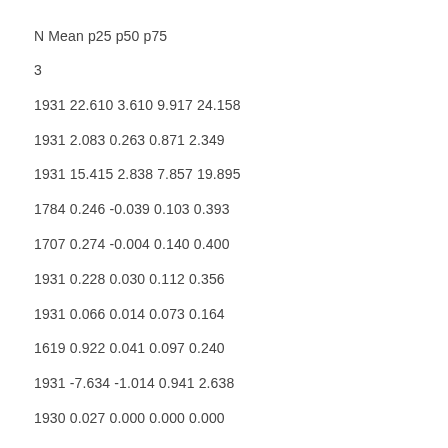| N | Mean | p25 | p50 | p75 |
| --- | --- | --- | --- | --- |
| 3 |  |  |  |  |
| 1931 | 22.610 | 3.610 | 9.917 | 24.158 |
| 1931 | 2.083 | 0.263 | 0.871 | 2.349 |
| 1931 | 15.415 | 2.838 | 7.857 | 19.895 |
| 1784 | 0.246 | -0.039 | 0.103 | 0.393 |
| 1707 | 0.274 | -0.004 | 0.140 | 0.400 |
| 1931 | 0.228 | 0.030 | 0.112 | 0.356 |
| 1931 | 0.066 | 0.014 | 0.073 | 0.164 |
| 1619 | 0.922 | 0.041 | 0.097 | 0.240 |
| 1931 | -7.634 | -1.014 | 0.941 | 2.638 |
| 1930 | 0.027 | 0.000 | 0.000 | 0.000 |